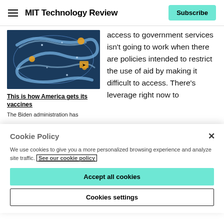MIT Technology Review | Subscribe
[Figure (photo): Aerial isometric illustration of a winding vaccine distribution conveyor system on a dark blue background with glowing lights and road signs]
This is how America gets its vaccines
The Biden administration has
access to government services isn't going to work when there are policies intended to restrict the use of aid by making it difficult to access. There's leverage right now to
Cookie Policy
We use cookies to give you a more personalized browsing experience and analyze site traffic. See our cookie policy
Accept all cookies
Cookies settings